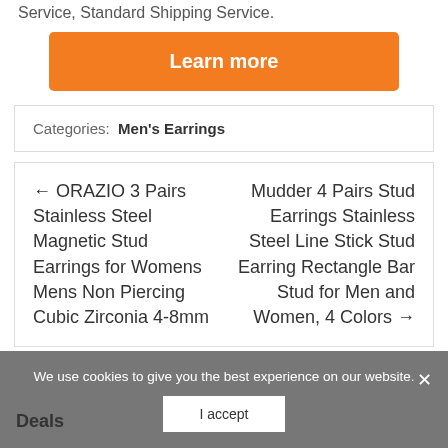Service, Standard Shipping Service.
Learn more
Categories: Men's Earrings
← ORAZIO 3 Pairs Stainless Steel Magnetic Stud Earrings for Womens Mens Non Piercing Cubic Zirconia 4-8mm
Mudder 4 Pairs Stud Earrings Stainless Steel Line Stick Stud Earring Rectangle Bar Stud for Men and Women, 4 Colors →
We use cookies to give you the best experience on our website.
I accept
Deals